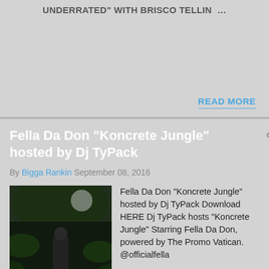UNDERRATED" WITH BRISCO TELLIN …
READ MORE
Fella Da Don "Koncrete Jungle" hosted by Dj TyPack
By Bigga Rankin September 08, 2016
[Figure (photo): Album cover for Fella Da Don Koncrete Jungle - dark jungle scene with figure standing]
Fella Da Don "Koncrete Jungle" hosted by Dj TyPack Download HERE Dj TyPack hosts "Koncrete Jungle" Starring Fella Da Don, powered by The Promo Vatican. @officialfella …
READ MORE